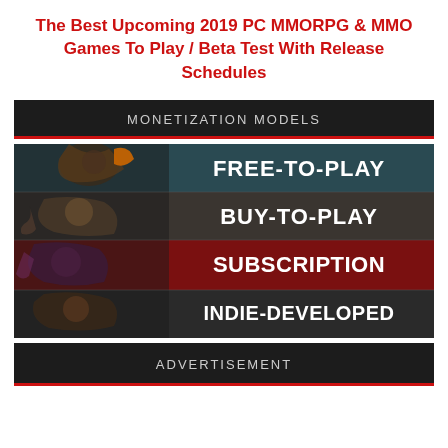The Best Upcoming 2019 PC MMORPG & MMO Games To Play / Beta Test With Release Schedules
[Figure (infographic): Dark banner with text MONETIZATION MODELS and red underline bar]
[Figure (infographic): Gaming infographic showing four monetization models: FREE-TO-PLAY, BUY-TO-PLAY, SUBSCRIPTION, INDIE-DEVELOPED with game character images on the left side]
[Figure (infographic): Dark banner with text ADVERTISEMENT and red underline bar]